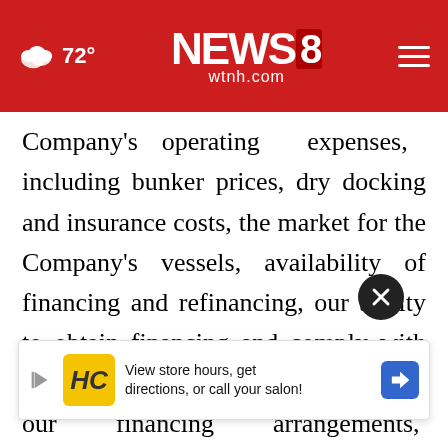[Figure (screenshot): NEWS 8 wtnh.com website header/navigation bar with red background, weather icon showing 72°, NEWS 8 logo in center, hamburger menu on right]
Company's operating expenses, including bunker prices, dry docking and insurance costs, the market for the Company's vessels, availability of financing and refinancing, our ability to obtain financing and comply with the restrictions and other covenants in our financing arrangements, availability of skilled workers and the related labor costs, compliance with governmental, tax, environmental and safety regulation, any non-compliance with the U.S. Foreign (FCPA) or other applicable regulations relating to bribery
[Figure (other): Ad banner overlay: HC logo (yellow background), text 'View store hours, get directions, or call your salon!' with navigation arrow button]